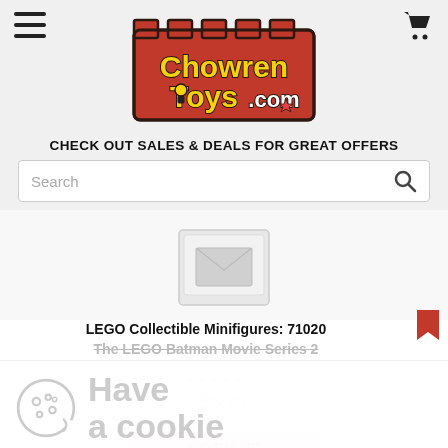ChowrenToys.com
CHECK OUT SALES & DEALS FOR GREAT OFFERS
[Figure (screenshot): Search bar with placeholder text 'Search' and a magnifying glass icon]
[Figure (photo): Partial image of a LEGO Collectible Minifigures product box]
LEGO Collectible Minifigures: 71020 The LEGO Batman Movie Series 2
★★★★★ (0)
$6.99
In Stock
Have a cookie
Accept the use of cookies on this site more information
I Accept